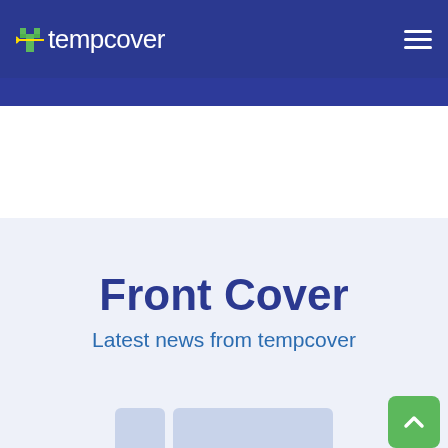tempcover
All   Tempcover news >   Car culture >   Car indus…
Home / Front Cover / Driving Advice
Front Cover
Latest news from tempcover